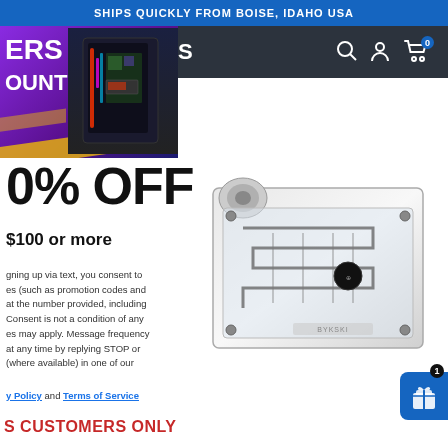SHIPS QUICKLY FROM BOISE, IDAHO USA
[Figure (screenshot): Dark navigation bar with logo (partially visible 'S') and icons for search, account, and cart with 0 items]
[Figure (photo): Promotional banner with purple gradient background showing text 'ERS DISCOUNT' and a gaming PC case image with RGB lighting]
0% OFF
$100 or more
gning up via text, you consent to es (such as promotion codes and at the number provided, including Consent is not a condition of any es may apply. Message frequency at any time by replying STOP or (where available) in one of our
Privacy Policy and Terms of Service
S CUSTOMERS ONLY
[Figure (photo): Clear/transparent PC water cooling block with visible channels and fittings, top-down angled view on white background]